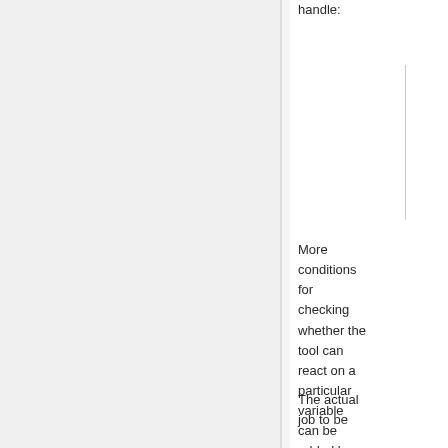handle:
More conditions for checking whether the tool can react on a particular variable can be added by providing a ParameterValidator to the prime input.
The actual job to be